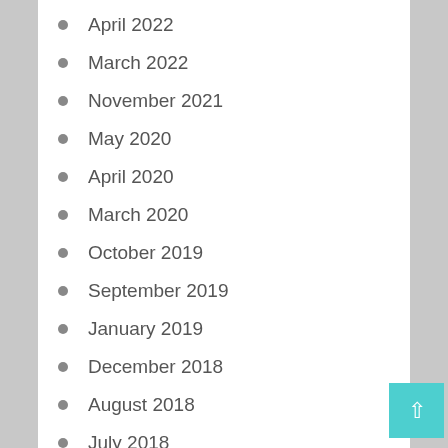April 2022
March 2022
November 2021
May 2020
April 2020
March 2020
October 2019
September 2019
January 2019
December 2018
August 2018
July 2018